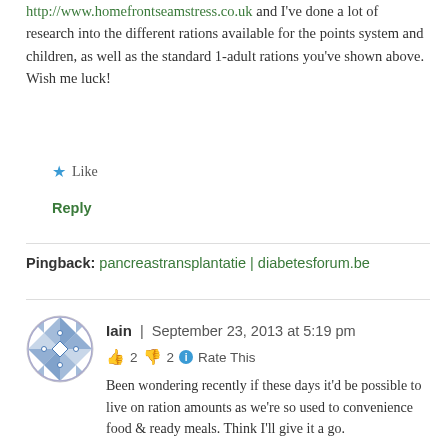http://www.homefrontseamstress.co.uk and I've done a lot of research into the different rations available for the points system and children, as well as the standard 1-adult rations you've shown above. Wish me luck!
★ Like
Reply
Pingback: pancreastransplantatie | diabetesforum.be
[Figure (illustration): User avatar for Iain - circular icon with blue and white geometric/quilted pattern]
Iain | September 23, 2013 at 5:19 pm
👍 2 👎 2 ℹ Rate This
Been wondering recently if these days it'd be possible to live on ration amounts as we're so used to convenience food & ready meals. Think I'll give it a go.